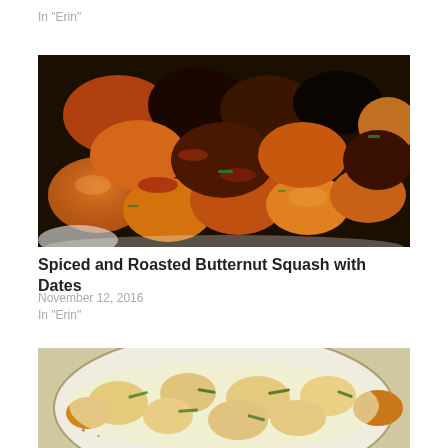In "Erin"
[Figure (photo): Close-up of roasted butternut squash cubes with dates, spiced with paprika/chili, garnished with green herbs, on a white plate]
Spiced and Roasted Butternut Squash with Dates
November 12, 2016
In "Erin"
[Figure (photo): Overhead view of a baked dish with butternut squash, melted cheese, and fresh herbs (dill) on a decorative plate]